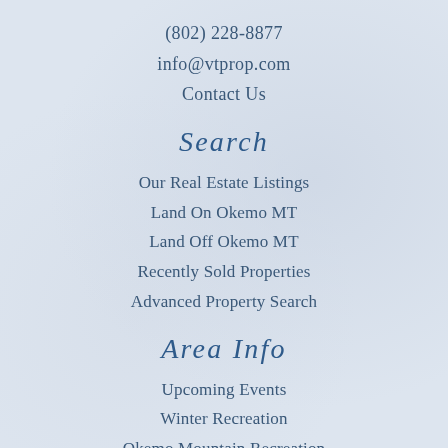(802) 228-8877
info@vtprop.com
Contact Us
Search
Our Real Estate Listings
Land On Okemo MT
Land Off Okemo MT
Recently Sold Properties
Advanced Property Search
Area Info
Upcoming Events
Winter Recreation
Okemo Mountain Recreation